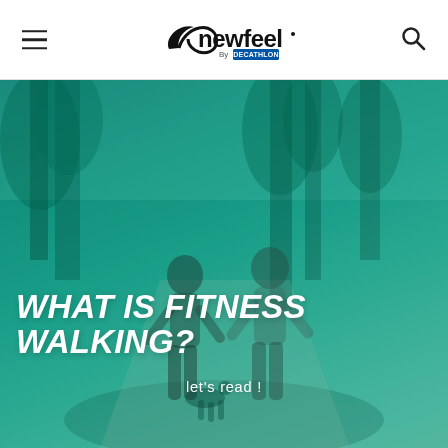newfeel by DECATHLON — navigation header with hamburger menu and search icon
[Figure (photo): Two people fitness walking/jogging on a park path surrounded by tall trees, with a teal/cyan color overlay. A dog is visible in the background.]
WHAT IS FITNESS WALKING?
let's read !